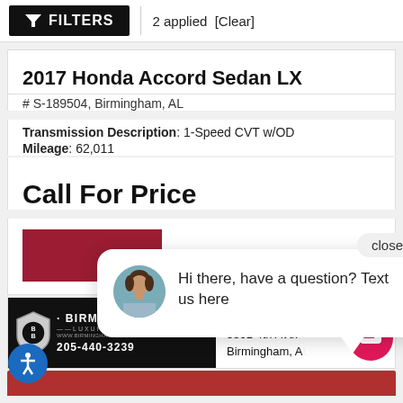FILTERS | 2 applied [Clear]
2017 Honda Accord Sedan LX
# S-189504, Birmingham, AL
Transmission Description: 1-Speed CVT w/OD
Mileage: 62,011
Call For Price
[Figure (screenshot): Chat overlay bubble with a female avatar photo, text 'Hi there, have a question? Text us here' and a close button]
[Figure (logo): Birmingham Luxury Motors dealer banner with shield logo, phone number 205-440-3239 and website www.birminghamluxurymotors.com]
Birmingham
3501 4th Ave.
Birmingham, AL